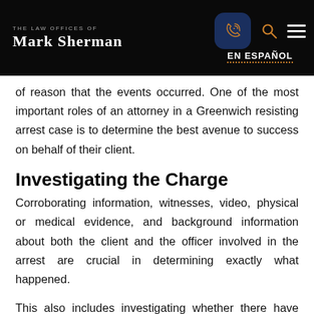THE LAW OFFICES OF MARK SHERMAN | EN ESPAÑOL
of reason that the events occurred. One of the most important roles of an attorney in a Greenwich resisting arrest case is to determine the best avenue to success on behalf of their client.
Investigating the Charge
Corroborating information, witnesses, video, physical or medical evidence, and background information about both the client and the officer involved in the arrest are crucial in determining exactly what happened.
This also includes investigating whether there have been other complaints about excessive force by that particular